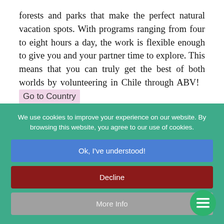forests and parks that make the perfect natural vacation spots. With programs ranging from four to eight hours a day, the work is flexible enough to give you and your partner time to explore. This means that you can truly get the best of both worlds by volunteering in Chile through ABV!  Go to Country
Belize
You'll be hard-pressed to find another country like
We use cookies to improve your experience on our website. By browsing this website, you agree to our use of cookies.
Ok, I've understood!
Decline
More Info